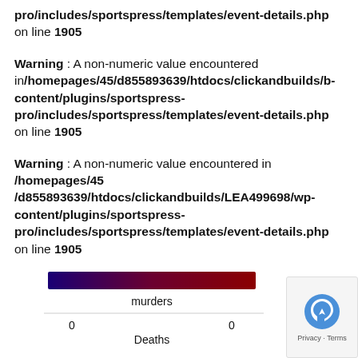pro/includes/sportspress/templates/event-details.php on line 1905
Warning : A non-numeric value encountered in/homepages/45/d855893639/htdocs/clickandbuilds/b-content/plugins/sportspress-pro/includes/sportspress/templates/event-details.php on line 1905
Warning : A non-numeric value encountered in /homepages/45 /d855893639/htdocs/clickandbuilds/LEA499698/wp-content/plugins/sportspress-pro/includes/sportspress/templates/event-details.php on line 1905
[Figure (continuous-plot): Horizontal gradient bar from dark blue on the left to dark red on the right, labeled 'murders' below. Below the bar are two values labeled '0' and '0' with 'Deaths' in the center.]
Privacy · Terms